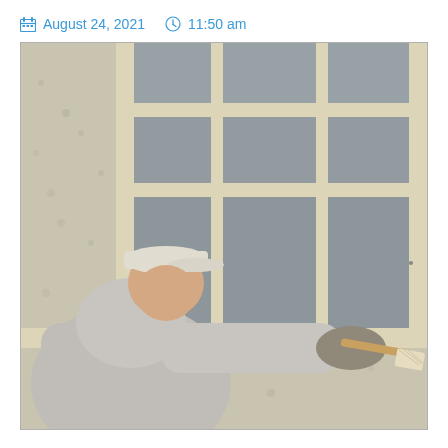August 24, 2021  11:50 am
[Figure (photo): A man wearing a gray hoodie and baseball cap, with work gloves, painting the exterior window trim of a building with a paintbrush. The window has multiple panes and cream/white painted frames with a stucco exterior wall visible on the left.]